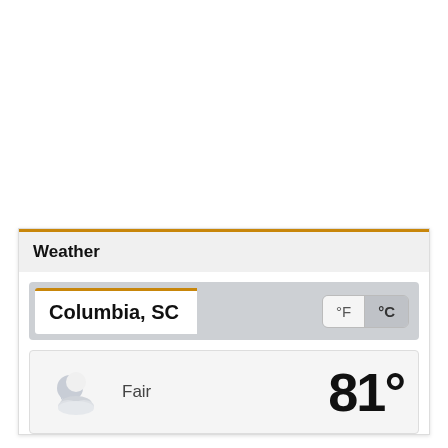Weather
Columbia, SC
°F °C
[Figure (illustration): Night/partly cloudy weather icon — crescent moon with clouds]
Fair
81°